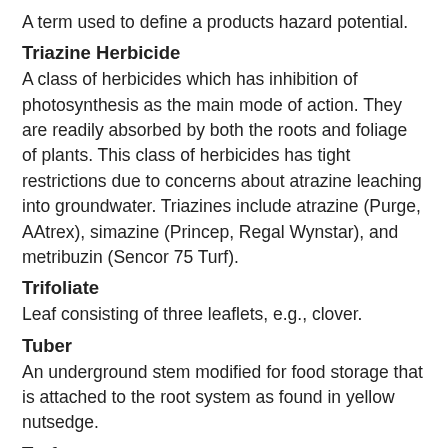A term used to define a products hazard potential.
Triazine Herbicide
A class of herbicides which has inhibition of photosynthesis as the main mode of action. They are readily absorbed by both the roots and foliage of plants. This class of herbicides has tight restrictions due to concerns about atrazine leaching into groundwater. Triazines include atrazine (Purge, AAtrex), simazine (Princep, Regal Wynstar), and metribuzin (Sencor 75 Turf).
Trifoliate
Leaf consisting of three leaflets, e.g., clover.
Tuber
An underground stem modified for food storage that is attached to the root system as found in yellow nutsedge.
Turf
A covering of mowed vegetation, usually a grass.